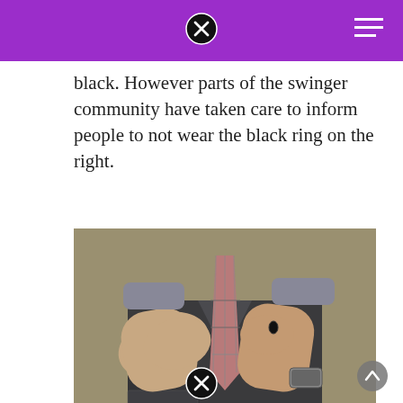black. However parts of the swinger community have taken care to inform people to not wear the black ring on the right.
[Figure (photo): A person wearing a dark gray vest and plaid tie adjusting their tie with both hands. A black ring is visible on one finger and a watch on the wrist.]
Source: weddingknowhow.com